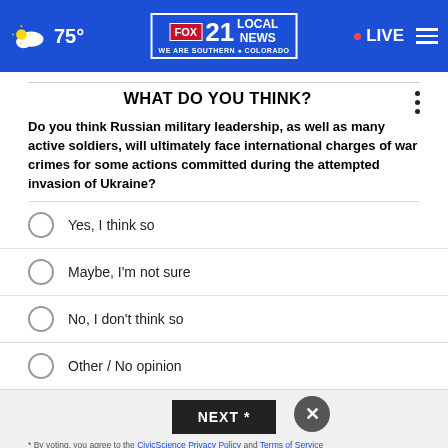FOX 21 LOCAL NEWS — WE ARE SOUTHERN COLORADO | 75° | LIVE
WHAT DO YOU THINK?
Do you think Russian military leadership, as well as many active soldiers, will ultimately face international charges of war crimes for some actions committed during the attempted invasion of Ukraine?
Yes, I think so
Maybe, I'm not sure
No, I don't think so
Other / No opinion
NEXT *
* By voting, you agree to the CivicScience Privacy Policy and Terms of Service